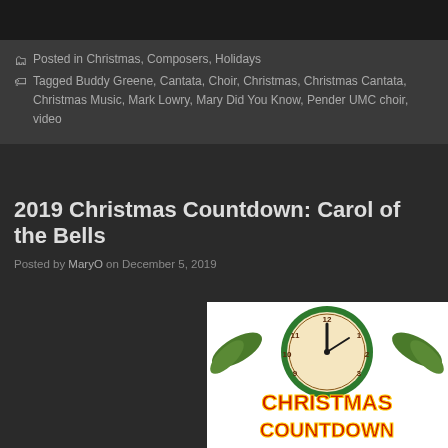[Figure (screenshot): Top dark image bar, partial screenshot of a YouTube video page]
Posted in Christmas, Composers, Holidays
Tagged Buddy Greene, Cantata, Choir, Christmas, Christmas Cantata, Christmas Music, Mark Lowry, Mary Did You Know, Pender UMC choir, video
2019 Christmas Countdown: Carol of the Bells
Posted by MaryO on December 5, 2019
[Figure (illustration): Christmas Countdown logo with a clock showing nearly midnight, surrounded by holiday foliage, with bold red and yellow text reading CHRISTMAS COUNTDOWN]